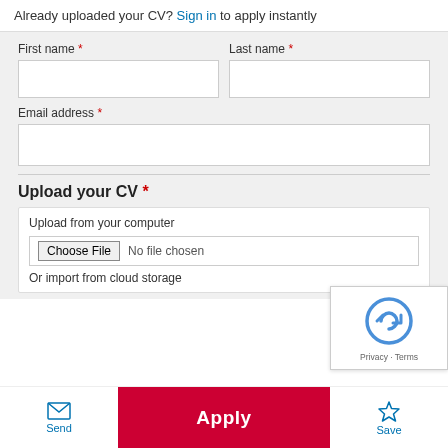Already uploaded your CV? Sign in to apply instantly
First name *
Last name *
Email address *
Upload your CV *
Upload from your computer
Choose File  No file chosen
Or import from cloud storage
Apply
Send
Save